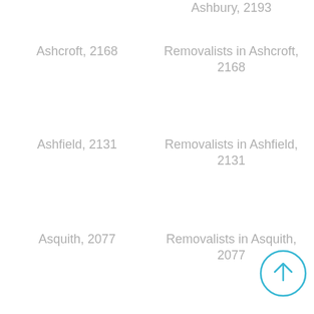Ashbury, 2193
Ashcroft, 2168 | Removalists in Ashcroft, 2168
Ashfield, 2131 | Removalists in Ashfield, 2131
Asquith, 2077 | Removalists in Asquith, 2077
Auburn North, 2144 | Removalists in Auburn North, 2144
Auburn South, 2144 | Removalists in Auburn South, 2144
Auburn West, 2144 | Removalists in Auburn West,